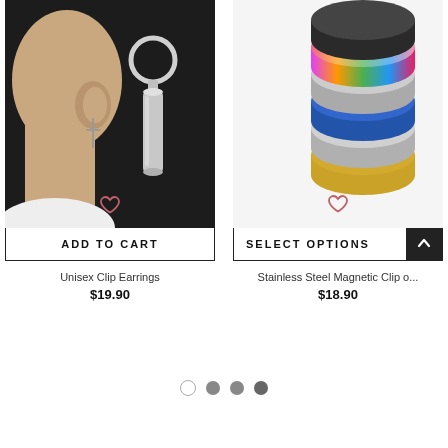[Figure (photo): Product photo of Unisex Clip Earrings on dark background showing a person's ear with a cross earring and a standalone silver cylindrical bar earring with a ring clasp]
ADD TO CART
Unisex Clip Earrings
$19.90
[Figure (photo): Product photo of Stainless Steel Magnetic Clip on earrings showing a stack of colorful disc-shaped magnetic earrings in black, rainbow, silver, blue, and gold on white background]
SELECT OPTIONS
Stainless Steel Magnetic Clip o...
$18.90